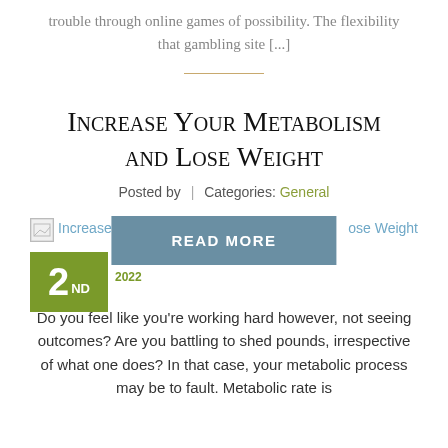trouble through online games of possibility. The flexibility that gambling site [...]
Increase Your Metabolism and Lose Weight
Posted by | Categories: General
[Figure (other): Blog post image placeholder with 'Increase Your Metabolism and Lose Weight' alt text, overlaid with a teal READ MORE button and a green date badge showing 2nd March 2022]
Do you feel like you're working hard however, not seeing outcomes? Are you battling to shed pounds, irrespective of what one does? In that case, your metabolic process may be to fault. Metabolic rate is